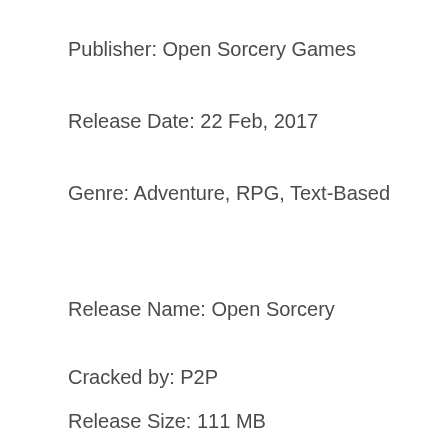Publisher: Open Sorcery Games
Release Date: 22 Feb, 2017
Genre: Adventure, RPG, Text-Based
Release Name: Open Sorcery
Cracked by: P2P
Release Size: 111 MB